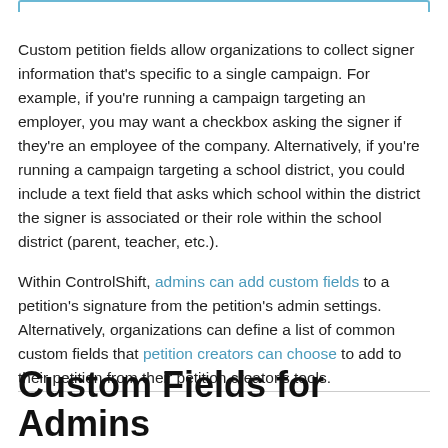Custom petition fields allow organizations to collect signer information that's specific to a single campaign. For example, if you're running a campaign targeting an employer, you may want a checkbox asking the signer if they're an employee of the company. Alternatively, if you're running a campaign targeting a school district, you could include a text field that asks which school within the district the signer is associated or their role within the school district (parent, teacher, etc.).
Within ControlShift, admins can add custom fields to a petition's signature from the petition's admin settings. Alternatively, organizations can define a list of common custom fields that petition creators can choose to add to their petition from their petition creator's tools.
Custom Fields for Admins